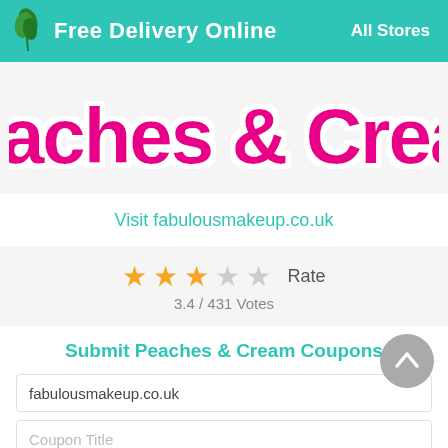Free Delivery Online | All Stores
[Figure (logo): Peaches & Cream brand logo in large pink bold bubble font on light grey background]
Visit fabulousmakeup.co.uk
3.4 / 431 Votes  Rate
Submit Peaches & Cream Coupons
fabulousmakeup.co.uk
Coupon Title
Code